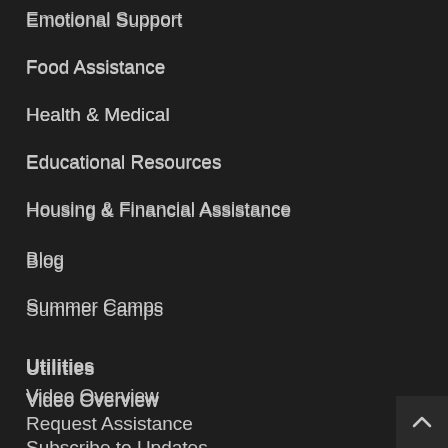Emotional Support
Food Assistance
Health & Medical
Educational Resources
Housing & Financial Assistance
Blog
Summer Camps
Utilities
Video Overview
Request Assistance
Subscribe to Updates
Submit an Update
Advisory Board